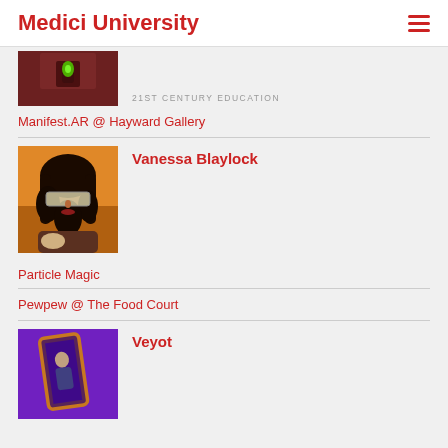Medici University
21ST CENTURY EDUCATION
[Figure (photo): Partial thumbnail image showing a dark reddish-brown background with a green glowing object in the center]
Manifest.AR @ Hayward Gallery
[Figure (photo): Portrait of Vanessa Blaylock wearing oversized futuristic sunglasses with dark curly hair against an orange/yellow background]
Vanessa Blaylock
Particle Magic
Pewpew @ The Food Court
[Figure (photo): Screenshot showing purple background with an orange tilted rectangular frame/mirror and a figure inside]
Veyot